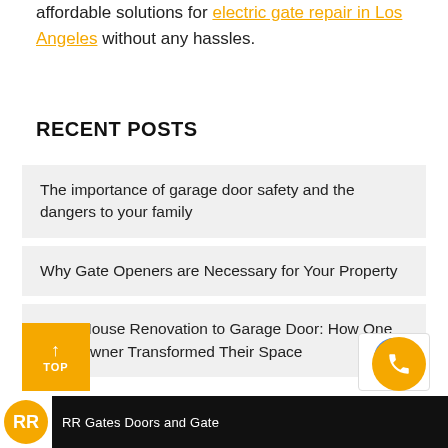affordable solutions for electric gate repair in Los Angeles without any hassles.
RECENT POSTS
The importance of garage door safety and the dangers to your family
Why Gate Openers are Necessary for Your Property
From House Renovation to Garage Door: How One Homeowner Transformed Their Space
RR Gates Doors and Gate logo bar